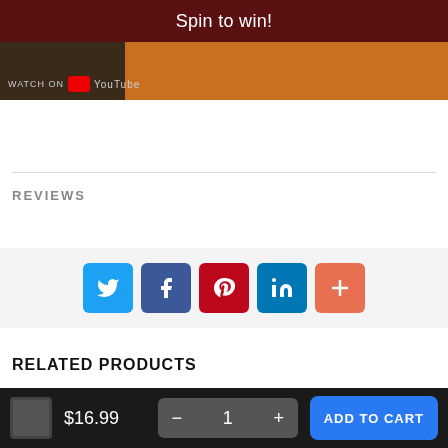Spin to win!
[Figure (screenshot): Partial product video thumbnail showing dark background on left and orange/golden content on right, with YouTube badge overlay]
REVIEWS
[Figure (infographic): Social share buttons row: Twitter (blue), Facebook (dark blue), Pinterest (red), LinkedIn (blue), More/Plus (orange-red)]
RELATED PRODUCTS
[Figure (screenshot): Partial product images at bottom of page — two dark product thumbnails side by side]
$16.99
1
ADD TO CART